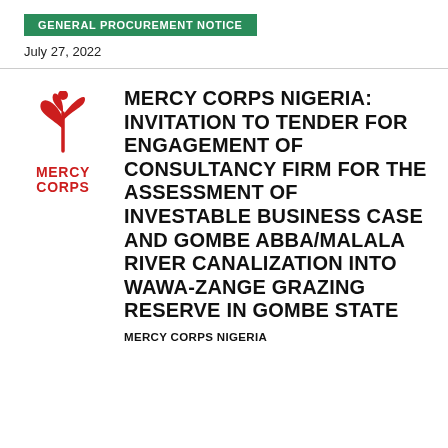GENERAL PROCUREMENT NOTICE
July 27, 2022
[Figure (logo): Mercy Corps logo — red stylized plant/person icon above the text MERCY CORPS in red bold letters]
MERCY CORPS NIGERIA: INVITATION TO TENDER FOR ENGAGEMENT OF CONSULTANCY FIRM FOR THE ASSESSMENT OF INVESTABLE BUSINESS CASE AND GOMBE ABBA/MALALA RIVER CANALIZATION INTO WAWA-ZANGE GRAZING RESERVE IN GOMBE STATE
MERCY CORPS NIGERIA